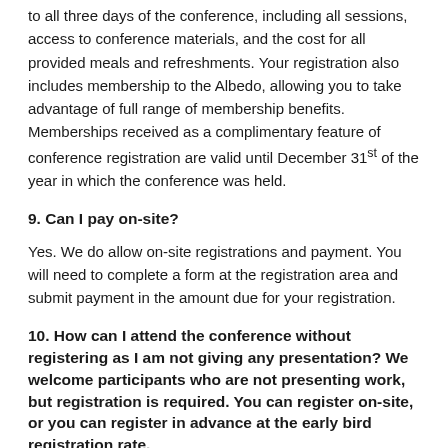to all three days of the conference, including all sessions, access to conference materials, and the cost for all provided meals and refreshments. Your registration also includes membership to the Albedo, allowing you to take advantage of full range of membership benefits. Memberships received as a complimentary feature of conference registration are valid until December 31st of the year in which the conference was held.
9. Can I pay on-site?
Yes. We do allow on-site registrations and payment. You will need to complete a form at the registration area and submit payment in the amount due for your registration.
10. How can I attend the conference without registering as I am not giving any presentation?
We welcome participants who are not presenting work, but registration is required. You can register on-site, or you can register in advance at the early bird registration rate.